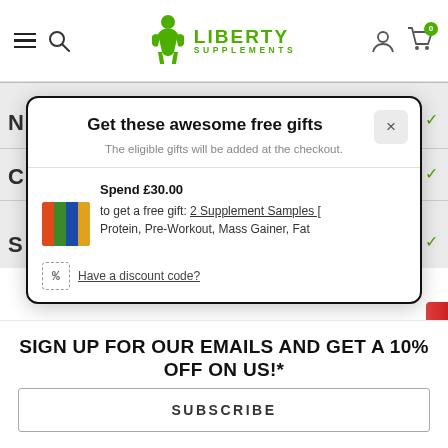Liberty Supplements — navigation header with hamburger, search, logo, account, cart (0 items)
Get these awesome free gifts
The eligible gifts will be added at the checkout.
Spend £30.00 to get a free gift: 2 Supplement Samples [ Protein, Pre-Workout, Mass Gainer, Fat
Have a discount code?
SIGN UP FOR OUR EMAILS AND GET A 10% OFF ON US!*
SUBSCRIBE